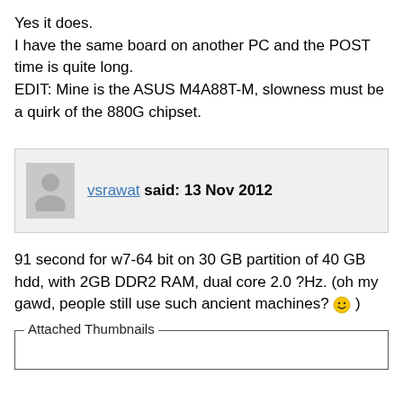Yes it does.
I have the same board on another PC and the POST time is quite long.
EDIT: Mine is the ASUS M4A88T-M, slowness must be a quirk of the 880G chipset.
vsrawat said: 13 Nov 2012
91 second for w7-64 bit on 30 GB partition of 40 GB hdd, with 2GB DDR2 RAM, dual core 2.0 ?Hz. (oh my gawd, people still use such ancient machines? 🙂 )
Attached Thumbnails